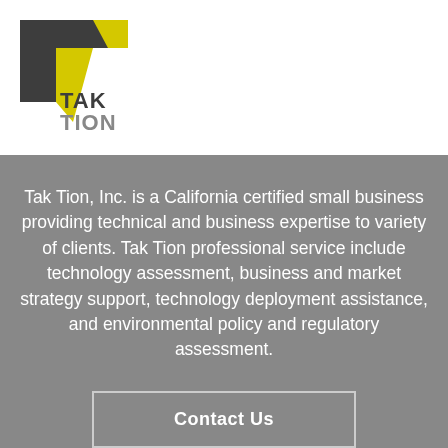[Figure (logo): Tak Tion, Inc. logo — a stylized T shape in dark gray and yellow, with the text TAK TION in bold dark gray letters below]
Tak Tion, Inc. is a California certified small business providing technical and business expertise to variety of clients. Tak Tion professional service include technology assessment, business and market strategy support, technology deployment assistance, and environmental policy and regulatory assessment.
Contact Us